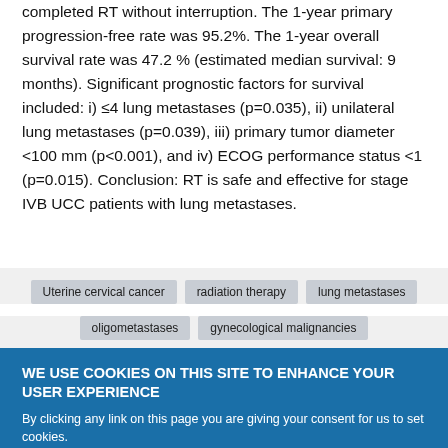completed RT without interruption. The 1-year primary progression-free rate was 95.2%. The 1-year overall survival rate was 47.2 % (estimated median survival: 9 months). Significant prognostic factors for survival included: i) ≤4 lung metastases (p=0.035), ii) unilateral lung metastases (p=0.039), iii) primary tumor diameter <100 mm (p<0.001), and iv) ECOG performance status <1 (p=0.015). Conclusion: RT is safe and effective for stage IVB UCC patients with lung metastases.
Uterine cervical cancer
radiation therapy
lung metastases
oligometastases
gynecological malignancies
WE USE COOKIES ON THIS SITE TO ENHANCE YOUR USER EXPERIENCE
By clicking any link on this page you are giving your consent for us to set cookies.